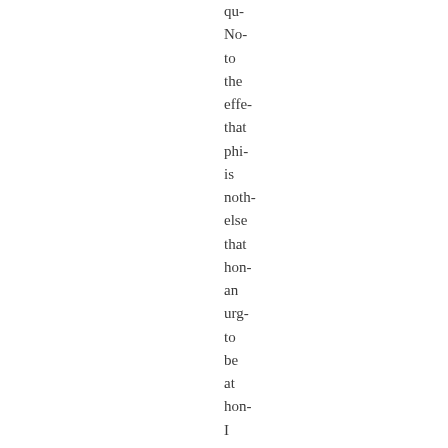qu- No- to the effe- that phi- is noth- else that hon an urg- to be at hon I don real und wha that